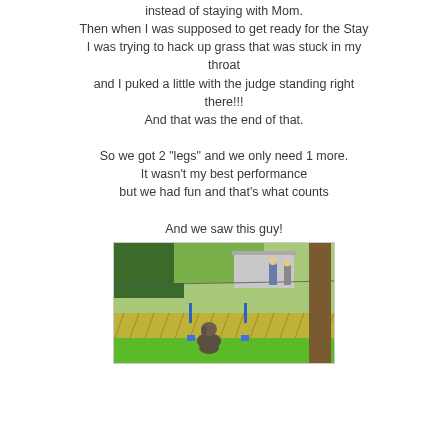instead of staying with Mom.
Then when I was supposed to get ready for the Stay
I was trying to hack up grass that was stuck in my throat
and I puked a little with the judge standing right there!!!
And that was the end of that.

So we got 2 "legs" and we only need 1 more.
It wasn't my best performance
but we had fun and that's what counts

And we saw this guy!
[Figure (photo): A dog sitting on green grass at an outdoor dog show or obedience trial, with lattice fencing, trees, and people visible in the background.]